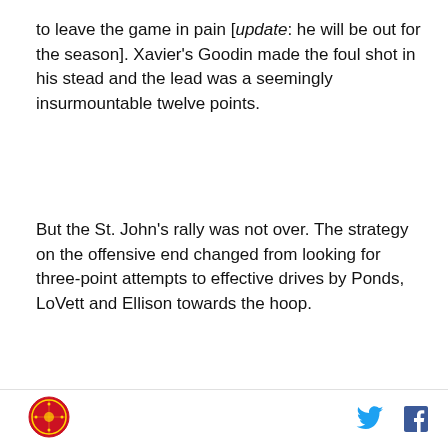to leave the game in pain [update: he will be out for the season]. Xavier's Goodin made the foul shot in his stead and the lead was a seemingly insurmountable twelve points.
But the St. John's rally was not over. The strategy on the offensive end changed from looking for three-point attempts to effective drives by Ponds, LoVett and Ellison towards the hoop.
[Figure (photo): Basketball game action photo showing St. John's player in white uniform driving to the hoop against Xavier players in black uniforms wearing numbers 11 and 0, taken at an indoor arena with crowd in background]
St. John's logo and social media icons (Twitter, Facebook)